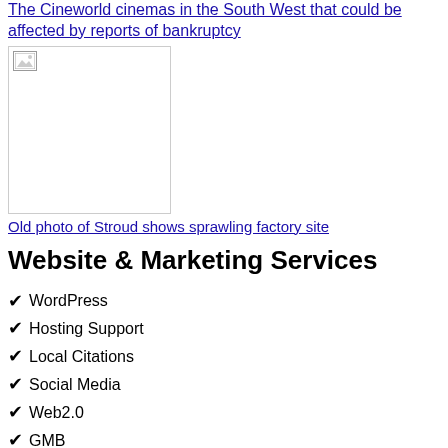The Cineworld cinemas in the South West that could be affected by reports of bankruptcy
[Figure (photo): A small broken/placeholder image icon inside a rectangular image container]
Old photo of Stroud shows sprawling factory site
Website & Marketing Services
✔ WordPress
✔ Hosting Support
✔ Local Citations
✔ Social Media
✔ Web2.0
✔ GMB
Copyright © 2021 - The Traffic SEO - HTML Sitemap Software Company | Developed By Rara Theme. Powered by WordPress.